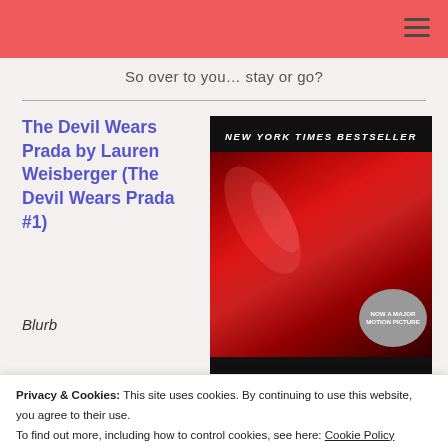So over to you... stay or go?
The Devil Wears Prada by Lauren Weisberger (The Devil Wears Prada #1)
[Figure (photo): Book cover of The Devil Wears Prada showing a red stiletto shoe against a black background with 'NEW YORK TIMES BESTSELLER' banner and 'NOW A MAJOR MOTION PICTURE' badge]
Blurb
Privacy & Cookies: This site uses cookies. By continuing to use this website, you agree to their use. To find out more, including how to control cookies, see here: Cookie Policy
Close and accept
girls would die for.